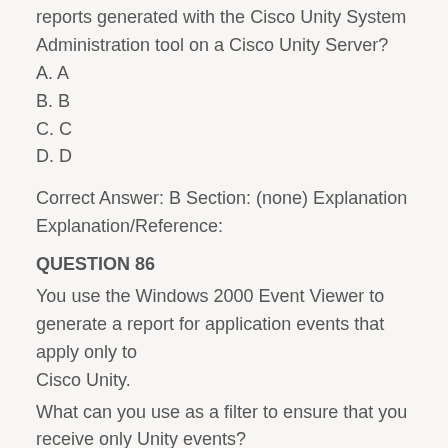reports generated with the Cisco Unity System Administration tool on a Cisco Unity Server?
A. A
B. B
C. C
D. D
Correct Answer: B Section: (none) Explanation Explanation/Reference:
QUESTION 86
You use the Windows 2000 Event Viewer to generate a report for application events that apply only to Cisco Unity.
What can you use as a filter to ensure that you receive only Unity events?